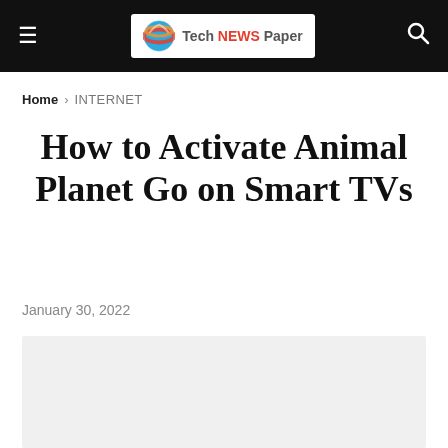Tech NEWS Paper
Home > INTERNET
How to Activate Animal Planet Go on Smart TVs
January 30, 2022
[Figure (photo): Article featured image placeholder (light gray box)]